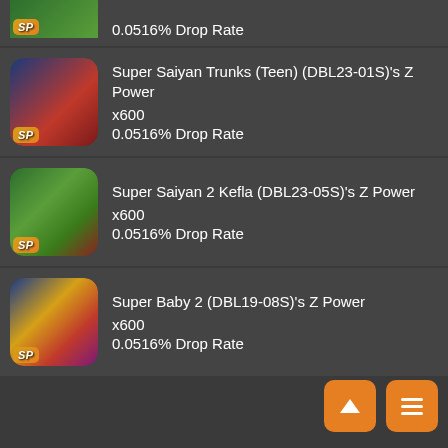0.0516% Drop Rate (partial item, top cropped)
Super Saiyan Trunks (Teen) (DBL23-01S)'s Z Power x600 0.0516% Drop Rate
Super Saiyan 2 Kefla (DBL23-05S)'s Z Power x600 0.0516% Drop Rate
Super Baby 2 (DBL19-08S)'s Z Power x600 0.0516% Drop Rate